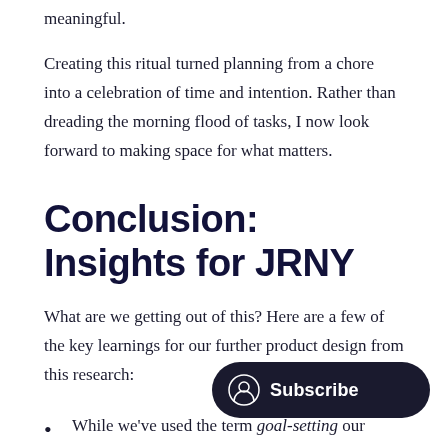meaningful.
Creating this ritual turned planning from a chore into a celebration of time and intention. Rather than dreading the morning flood of tasks, I now look forward to making space for what matters.
Conclusion: Insights for JRNY
What are we getting out of this? Here are a few of the key learnings for our further product design from this research:
While we've used the term goal-setting our intention is to help users form… One of the best choices we ca… regularly revisit the question of how we spend our time. Attention, our most precious resource f…